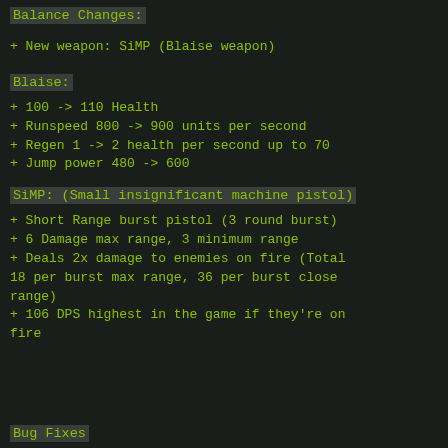Balance Changes:
+ New weapon: SiMP (Blaise weapon)
Blaise:
+ 100 -> 110 Health
+ Runspeed 800 -> 900 units per second
+ Regen 1 -> 2 health per second up to 70
+ Jump power 480 -> 600
SiMP:  (Small insignificant machine pistol)
+ Short Range burst pistol (3 round burst)
+ 6 Damage max range, 3 minimum range
+ Deals 2x damage to enemies on fire (Total 18 per burst max range, 36 per burst close range)
+ 106 DPS highest in the game if they're on fire
Bug Fixes